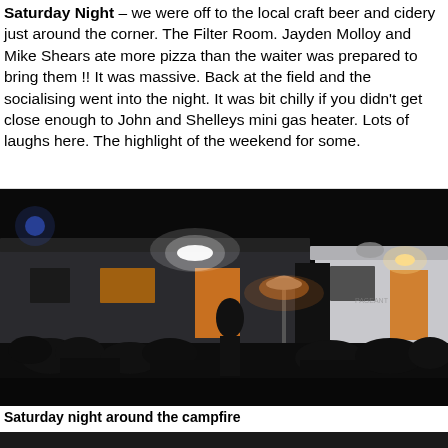Saturday Night – we were off to the local craft beer and cidery just around the corner. The Filter Room. Jayden Molloy and Mike Shears ate more pizza than the waiter was prepared to bring them !! It was massive. Back at the field and the socialising went into the night. It was bit chilly if you didn't get close enough to John and Shelleys mini gas heater. Lots of laughs here. The highlight of the weekend for some.
[Figure (photo): Night-time photo of caravans/trailers parked in a field with interior and exterior lights on, a patio heater in the centre, and a large group of people sitting in camp chairs socialising around the campfire area.]
Saturday night around the campfire